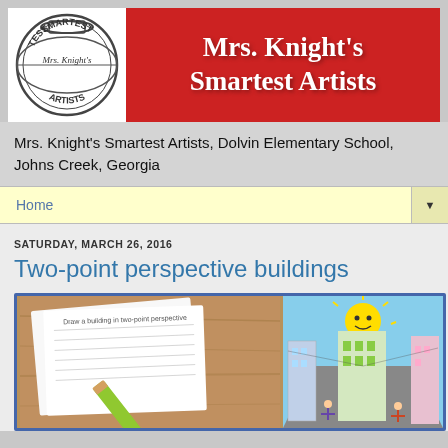[Figure (logo): Circular logo with 'Smartest Mrs. Knight's Artists' text in sketch style]
Mrs. Knight's Smartest Artists
Mrs. Knight's Smartest Artists, Dolvin Elementary School, Johns Creek, Georgia
Home
SATURDAY, MARCH 26, 2016
Two-point perspective buildings
[Figure (photo): Left side: worksheet titled 'Draw a building in two-point perspective' on wooden table with green pencil. Right side: colorful illustration of buildings in two-point perspective with sun and cartoon figures.]